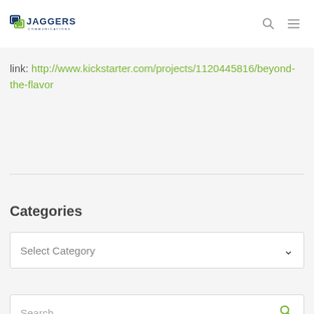[Figure (logo): Jaggers Communications logo — blue and green abstract chat bubble icon with JAGGERS COMMUNICATIONS text in blue]
link: http://www.kickstarter.com/projects/1120445816/beyond-the-flavor
Categories
Select Category
Search...